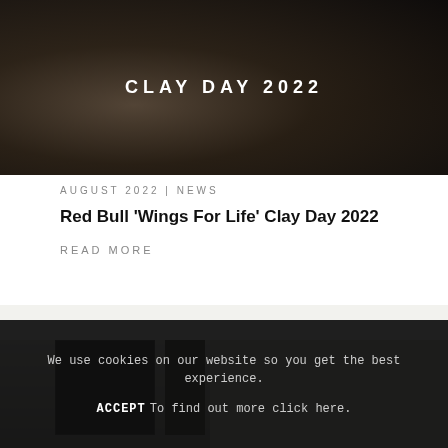[Figure (photo): Dark background image with text overlay reading CLAY DAY 2022, showing metallic/automotive detail in dark tones]
AUGUST 2022 | NEWS
Red Bull 'Wings For Life' Clay Day 2022
READ MORE
[Figure (photo): Interior architectural photo showing a modern white room with ceiling panels and dark-framed windows/doors]
We use cookies on our website so you get the best experience.
ACCEPT  To find out more click here.